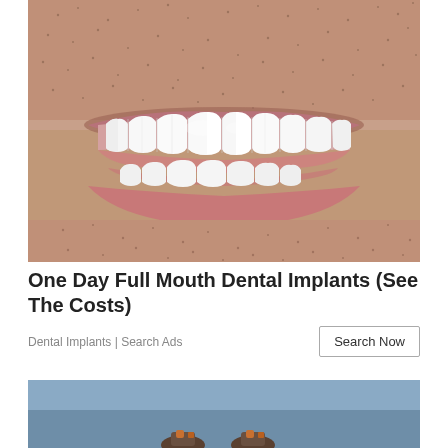[Figure (photo): Close-up photo of a man's smiling mouth showing bright white dental implants/veneers, with stubble visible on face and lips parted to show upper and lower teeth.]
One Day Full Mouth Dental Implants (See The Costs)
Dental Implants | Search Ads
[Figure (photo): Partial photo with steel blue/grey sky background showing tops of two small figures or objects at the bottom edge.]